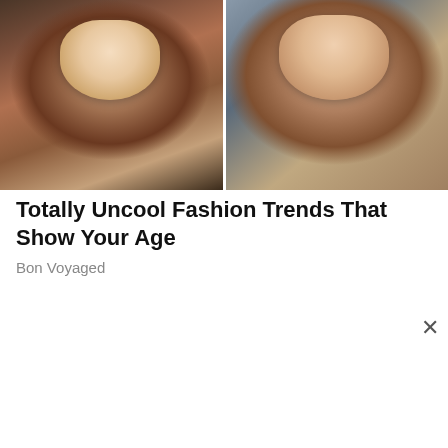[Figure (photo): Two women's portrait photos side by side. Left: woman with dark hair and black glasses wearing a pearl necklace. Right: woman with gray-blonde hair and red lipstick.]
Totally Uncool Fashion Trends That Show Your Age
Bon Voyaged
Privacy & Cookies: This site uses cookies. By continuing to use this website, you agree to their use.
To find out more, including how to control cookies, see here: Cookie Policy
Close and accept